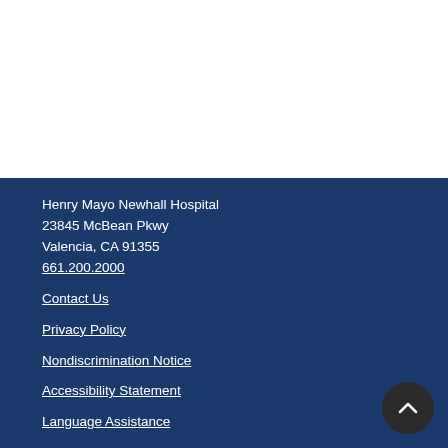Henry Mayo Newhall Hospital
23845 McBean Pkwy
Valencia, CA 91355
661.200.2000
Contact Us
Privacy Policy
Nondiscrimination Notice
Accessibility Statement
Language Assistance
For Employees
For Physicians